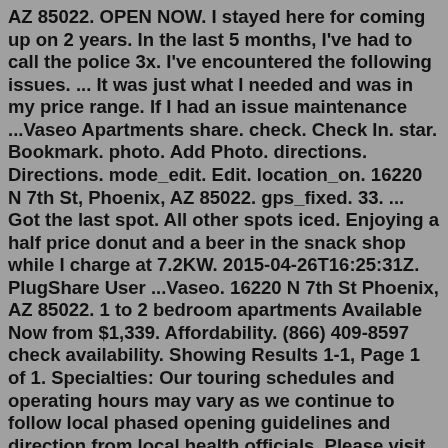AZ 85022. OPEN NOW. I stayed here for coming up on 2 years. In the last 5 months, I've had to call the police 3x. I've encountered the following issues. ... It was just what I needed and was in my price range. If I had an issue maintenance ...Vaseo Apartments share. check. Check In. star. Bookmark. photo. Add Photo. directions. Directions. mode_edit. Edit. location_on. 16220 N 7th St, Phoenix, AZ 85022. gps_fixed. 33. ... Got the last spot. All other spots iced. Enjoying a half price donut and a beer in the snack shop while I charge at 7.2KW. 2015-04-26T16:25:31Z. PlugShare User ...Vaseo. 16220 N 7th St Phoenix, AZ 85022. 1 to 2 bedroom apartments Available Now from $1,339. Affordability. (866) 409-8597 check availability. Showing Results 1-1, Page 1 of 1. Specialties: Our touring schedules and operating hours may vary as we continue to follow local phased opening guidelines and direction from local health officials. Please visit our community website for up to date information. Vaseo Inhabit an enriched lifestyle experience with Vaseo Apartments, a quality North Phoenix...